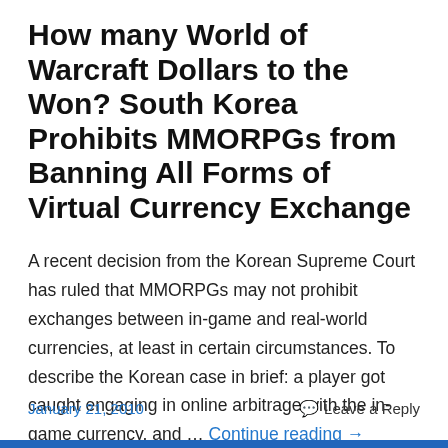How many World of Warcraft Dollars to the Won? South Korea Prohibits MMORPGs from Banning All Forms of Virtual Currency Exchange
A recent decision from the Korean Supreme Court has ruled that MMORPGs may not prohibit exchanges between in-game and real-world currencies, at least in certain circumstances. To describe the Korean case in brief: a player got caught engaging in online arbitrage with the in-game currency, and … Continue reading →
January 21, 2010    Leave a Reply